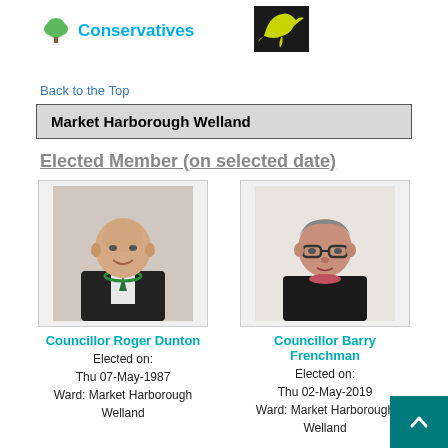[Figure (logo): Conservatives party logo with tree icon and teal text]
[Figure (logo): Liberal Democrats party logo - yellow bird on black background]
Back to the Top
Market Harborough Welland
Elected Member (on selected date)
[Figure (photo): Photo of Councillor Roger Dunton, bald man in black suit with green chain]
Councillor Roger Dunton
Elected on:
Thu 07-May-1987
Ward: Market Harborough Welland
[Figure (photo): Photo of Councillor Barry Frenchman, man with glasses in dark top]
Councillor Barry Frenchman
Elected on:
Thu 02-May-2019
Ward: Market Harborough Welland